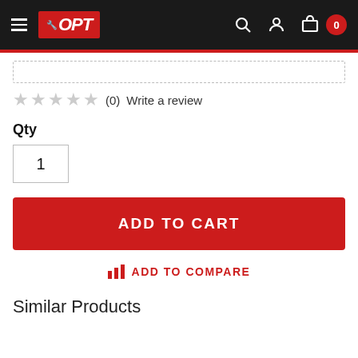OPT — Navigation header with logo, search, account, and cart (0 items)
★★★★★ (0)   Write a review
Qty
1
ADD TO CART
ADD TO COMPARE
Similar Products